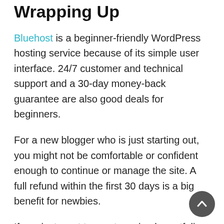Wrapping Up
Bluehost is a beginner-friendly WordPress hosting service because of its simple user interface. 24/7 customer and technical support and a 30-day money-back guarantee are also good deals for beginners.
For a new blogger who is just starting out, you might not be comfortable or confident enough to continue or manage the site. A full refund within the first 30 days is a big benefit for newbies.
If you just want to create a simple portfolio website, give Weebly a try. You can play around with the website builder for free! The builder is a simple user interface, easy to navigate. I really like their template.